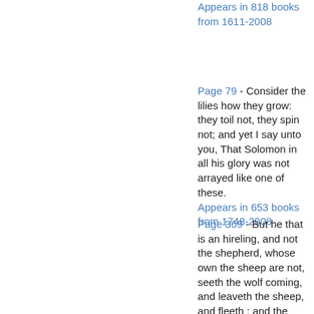Appears in 818 books from 1611-2008
Page 79 - Consider the lilies how they grow: they toil not, they spin not; and yet I say unto you, That Solomon in all his glory was not arrayed like one of these. Appears in 653 books from 1748-2008
Page 369 - But he that is an hireling, and not the shepherd, whose own the sheep are not, seeth the wolf coming, and leaveth the sheep, and fleeth : and the wolf catcheth them, and scattereth the sheep. The hireling fleeth,